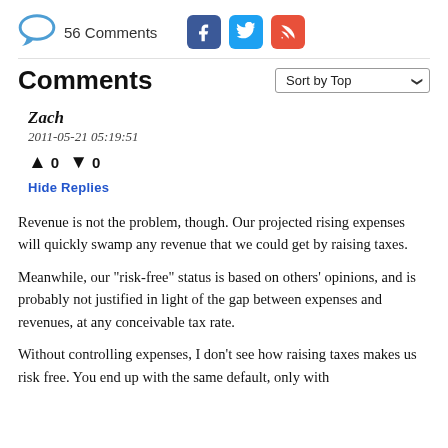56 Comments
Comments
Zach
2011-05-21 05:19:51
↑ 0 ↓ 0
Hide Replies
Revenue is not the problem, though. Our projected rising expenses will quickly swamp any revenue that we could get by raising taxes.
Meanwhile, our "risk-free" status is based on others' opinions, and is probably not justified in light of the gap between expenses and revenues, at any conceivable tax rate.
Without controlling expenses, I don't see how raising taxes makes us risk free. You end up with the same default, only with